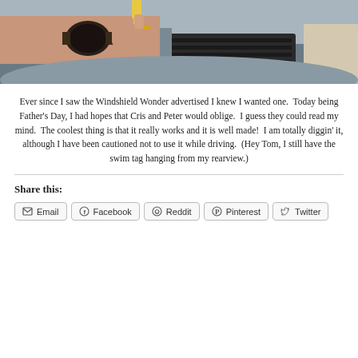[Figure (photo): A hand with a wristwatch gripping what appears to be a Windshield Wonder tool being used on a car dashboard/windshield interior near the air vents.]
Ever since I saw the Windshield Wonder advertised I knew I wanted one.  Today being Father’s Day, I had hopes that Cris and Peter would oblige.  I guess they could read my mind.  The coolest thing is that it really works and it is well made!  I am totally diggin’ it, although I have been cautioned not to use it while driving.  (Hey Tom, I still have the swim tag hanging from my rearview.)
Share this:
Email
Facebook
Reddit
Pinterest
Twitter